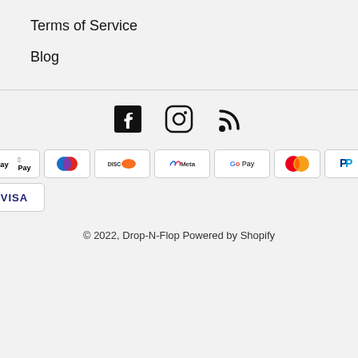Terms of Service
Blog
[Figure (infographic): Social media icons: Facebook, Instagram, RSS feed]
[Figure (infographic): Payment method logos: American Express, Apple Pay, Diners Club, Discover, Meta Pay, Google Pay, Mastercard, PayPal, Shop Pay, Venmo, Visa]
© 2022, Drop-N-Flop Powered by Shopify